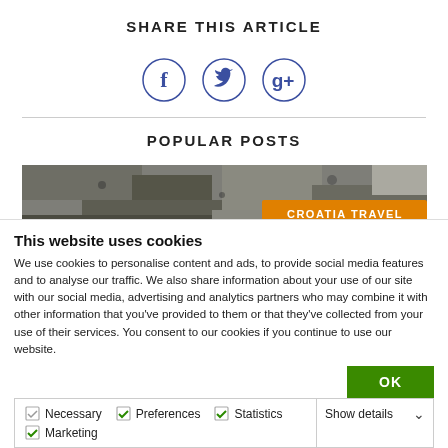SHARE THIS ARTICLE
[Figure (illustration): Three social media icons in circles: Facebook (f), Twitter (bird), Google+ (g+)]
POPULAR POSTS
[Figure (photo): Stone/rock texture image with orange label 'CROATIA TRAVEL']
This website uses cookies
We use cookies to personalise content and ads, to provide social media features and to analyse our traffic. We also share information about your use of our site with our social media, advertising and analytics partners who may combine it with other information that you've provided to them or that they've collected from your use of their services. You consent to our cookies if you continue to use our website.
OK
Necessary  Preferences  Statistics  Marketing  Show details